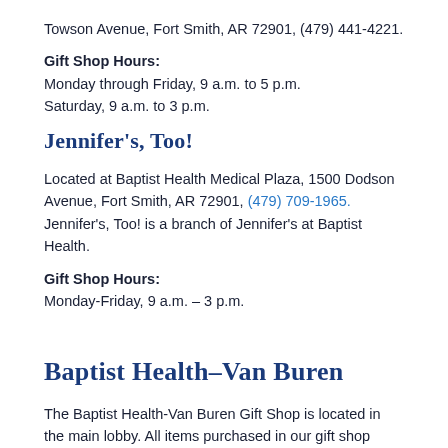Towson Avenue, Fort Smith, AR 72901, (479) 441-4221.
Gift Shop Hours:
Monday through Friday, 9 a.m. to 5 p.m.
Saturday, 9 a.m. to 3 p.m.
Jennifer's, Too!
Located at Baptist Health Medical Plaza, 1500 Dodson Avenue, Fort Smith, AR 72901, (479) 709-1965. Jennifer's, Too! is a branch of Jennifer's at Baptist Health.
Gift Shop Hours:
Monday-Friday, 9 a.m. – 3 p.m.
Baptist Health–Van Buren
The Baptist Health-Van Buren Gift Shop is located in the main lobby. All items purchased in our gift shop benefit